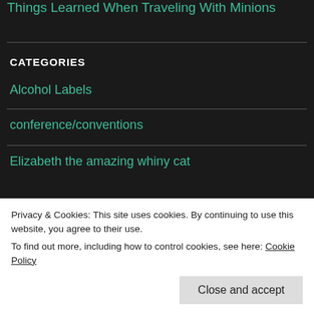Things Learned When Traveling With Minions
CATEGORIES
Alcohol Labels
conference/conventions
Elizabeth the amazing whiny cat
Privacy & Cookies: This site uses cookies. By continuing to use this website, you agree to their use.
To find out more, including how to control cookies, see here: Cookie Policy
Close and accept